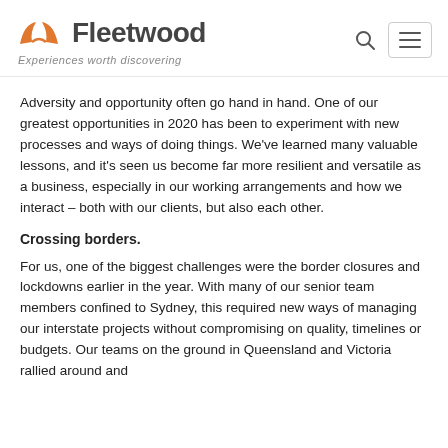Fleetwood — Experiences worth discovering
Adversity and opportunity often go hand in hand. One of our greatest opportunities in 2020 has been to experiment with new processes and ways of doing things. We've learned many valuable lessons, and it's seen us become far more resilient and versatile as a business, especially in our working arrangements and how we interact – both with our clients, but also each other.
Crossing borders.
For us, one of the biggest challenges were the border closures and lockdowns earlier in the year. With many of our senior team members confined to Sydney, this required new ways of managing our interstate projects without compromising on quality, timelines or budgets. Our teams on the ground in Queensland and Victoria rallied around and